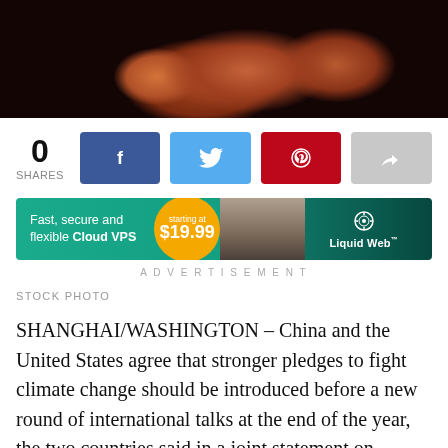[Figure (photo): Dark photo of hands against a black background, likely cupped or touching hands]
0
SHARES
[Figure (infographic): Social sharing buttons: Facebook (dark blue), Twitter (light blue), Pinterest (red), Share (grey)]
[Figure (infographic): Advertisement banner for Liquid Web Cloud VPS: Fast, secure and flexible Cloud VPS starting at $19.99]
ADVERTISEMENT
STOCK PHOTO
SHANGHAI/WASHINGTON – China and the United States agree that stronger pledges to fight climate change should be introduced before a new round of international talks at the end of the year, the two countries said in a joint statement on Sunday.